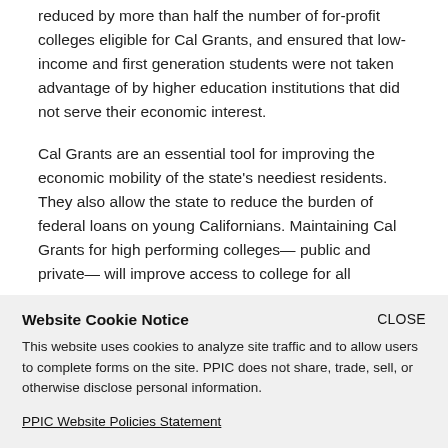reduced by more than half the number of for-profit colleges eligible for Cal Grants, and ensured that low-income and first generation students were not taken advantage of by higher education institutions that did not serve their economic interest.
Cal Grants are an essential tool for improving the economic mobility of the state's neediest residents. They also allow the state to reduce the burden of federal loans on young Californians. Maintaining Cal Grants for high performing colleges— public and private— will improve access to college for all
Website Cookie Notice
This website uses cookies to analyze site traffic and to allow users to complete forms on the site. PPIC does not share, trade, sell, or otherwise disclose personal information.
PPIC Website Policies Statement